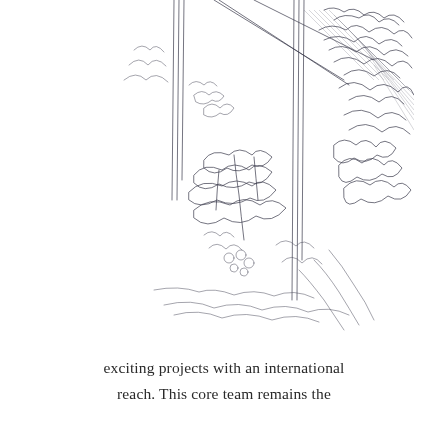[Figure (illustration): A pencil sketch illustration of a forest or garden scene, showing trees, foliage, leaves, plants, and undergrowth with dense hatching on the right side. The sketch is in black and white on a white background, depicting a vertical composition of natural vegetation.]
exciting projects with an international reach. This core team remains the